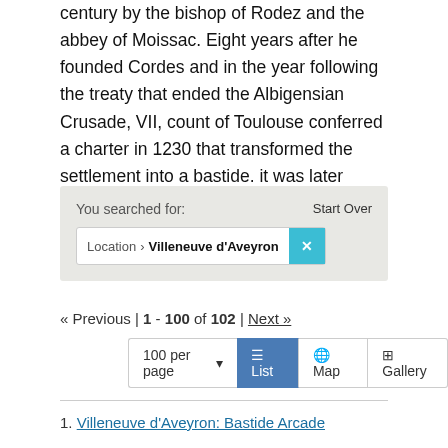as a sauvetė - in this case one jointly created in the eleventh century by the bishop of Rodez and the abbey of Moissac. Eight years after he founded Cordes and in the year following the treaty that ended the Albigensian Crusade, VII, count of Toulouse conferred a charter in 1230 that transformed the settlement into a bastide. it was later further extended under Alphonse de Poitiers. More ›
You searched for:
Start Over
Location › Villeneuve d'Aveyron ✕
« Previous | 1 - 100 of 102 | Next »
100 per page  ☰ List  🌐 Map  ⊞ Gallery
1. Villeneuve d'Aveyron: Bastide Arcade